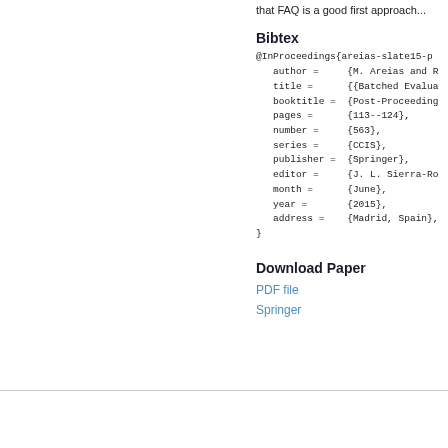that FAQ is a good first approach...
Bibtex
@InProceedings{areias-slate15-p
    author =     {M. Areias and R
    title =      {{Batched Evalua
    booktitle =  {Post-Proceeding
    pages =      {113--124},
    number =     {563},
    series =     {CCIS},
    publisher =  {Springer},
    editor =     {J. L. Sierra-Ro
    month =      {June},
    year =       {2015},
    address =    {Madrid, Spain},
}
Download Paper
PDF file
Springer